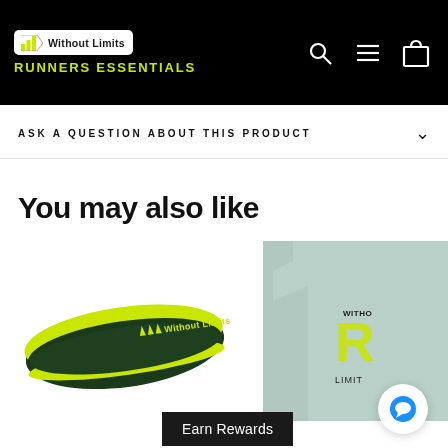[Figure (logo): Without Limits Runners Essentials logo on black header bar with search, menu, and cart icons]
ASK A QUESTION ABOUT THIS PRODUCT
You may also like
[Figure (photo): Adidas Without Limits dark green and neon yellow headband/sweatband product]
[Figure (photo): Without Limits gray sleeveless running vest/singlet partially visible on right]
Earn Rewards